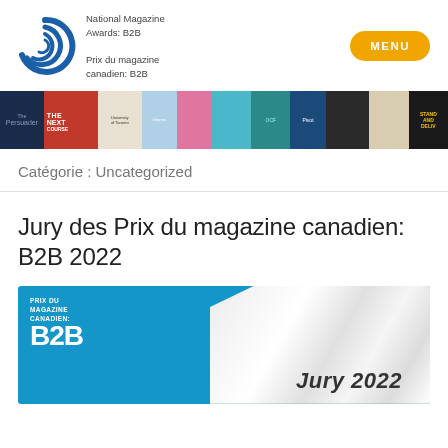[Figure (logo): National Magazine Awards B2B logo — blue spiral/circle icon with text 'National Magazine Awards: B2B' and 'Prix du magazine canadien: B2B']
[Figure (illustration): Horizontal strip of magazine covers in various colors and styles]
Catégorie : Uncategorized
Jury des Prix du magazine canadien: B2B 2022
[Figure (photo): Blue banner image with 'PRIX DU MAGAZINE CANADIEN: B2B' badge on left and 'Jury 2022' text over white crumpled paper background on right]